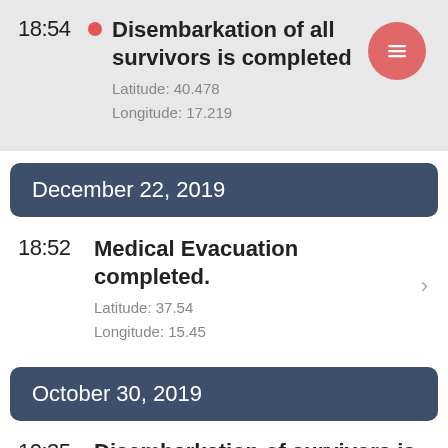18:54 • Disembarkation of all survivors is completed
Latitude: 40.478
Longitude: 17.219
December 22, 2019
18:52 Medical Evacuation completed.
Latitude: 37.54
Longitude: 15.45
October 30, 2019
10:35 Disembarkation of survivors is